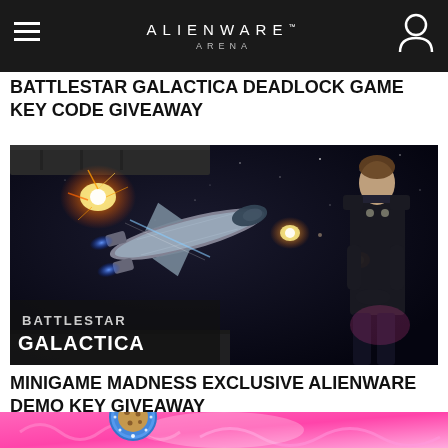ALIENWARE ARENA
BATTLESTAR GALACTICA DEADLOCK GAME KEY CODE GIVEAWAY
[Figure (photo): Battlestar Galactica Deadlock game art showing a military officer looking out at a space battle with a Viper spacecraft amid explosions, with the Battlestar Galactica logo in the lower left]
MINIGAME MADNESS EXCLUSIVE ALIENWARE DEMO KEY GIVEAWAY
[Figure (photo): Bottom strip of a colorful pink/magenta themed image, partially visible, with a cookie/biscuit icon overlay]